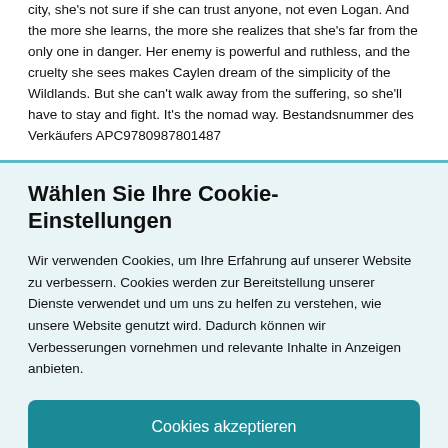city, she's not sure if she can trust anyone, not even Logan. And the more she learns, the more she realizes that she's far from the only one in danger. Her enemy is powerful and ruthless, and the cruelty she sees makes Caylen dream of the simplicity of the Wildlands. But she can't walk away from the suffering, so she'll have to stay and fight. It's the nomad way. Bestandsnummer des Verkäufers APC9780987801487
Wählen Sie Ihre Cookie-Einstellungen
Wir verwenden Cookies, um Ihre Erfahrung auf unserer Website zu verbessern. Cookies werden zur Bereitstellung unserer Dienste verwendet und um uns zu helfen zu verstehen, wie unsere Website genutzt wird. Dadurch können wir Verbesserungen vornehmen und relevante Inhalte in Anzeigen anbieten.
Cookies akzeptieren
Cookies anpassen